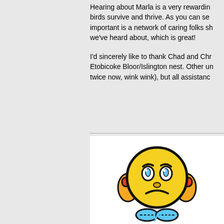Hearing about Marla is a very rewarding birds survive and thrive. As you can see, important is a network of caring folks sh we've heard about, which is great!
I'd sincerely like to thank Chad and Chr Etobicoke Bloor/Islington nest. Other un twice now, wink wink), but all assistanc
[Figure (illustration): A worried/sad yellow emoji face character with hands on cheeks, wearing blue shoes, with orange ear-like features. Below is stylized text reading 'tinynic' in blue curvy lettering.]